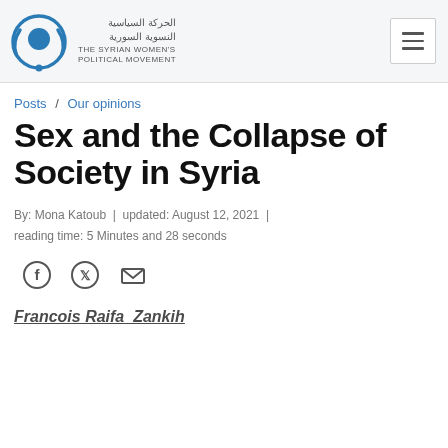The Syrian Women's Political Movement — logo and navigation
Posts / Our opinions
Sex and the Collapse of Society in Syria
By: Mona Katoub | updated: August 12, 2021 | reading time: 5 Minutes and 28 seconds
[Figure (infographic): Social share icons: Facebook, Twitter, Email]
Francois Raifa  Zankih